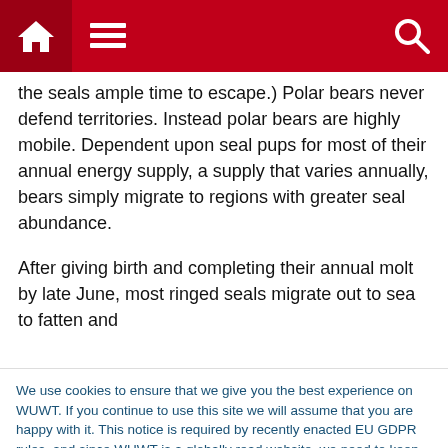Navigation bar with home, menu, and search icons
the seals ample time to escape.) Polar bears never defend territories. Instead polar bears are highly mobile. Dependent upon seal pups for most of their annual energy supply, a supply that varies annually, bears simply migrate to regions with greater seal abundance.
After giving birth and completing their annual molt by late June, most ringed seals migrate out to sea to fatten and
We use cookies to ensure that we give you the best experience on WUWT. If you continue to use this site we will assume that you are happy with it. This notice is required by recently enacted EU GDPR rules, and since WUWT is a globally read website, we need to keep the bureaucrats off our case! Cookie Policy
benefits seals. In a previous essay, Why Less Summer Ice